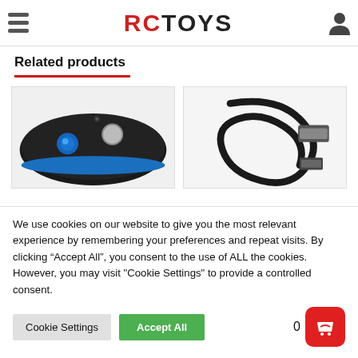RC TOYS navigation header with hamburger menu and user icon
Related products
[Figure (photo): Black RC controller/gamepad with blue joystick and blue accent stripe]
[Figure (photo): Black USB charging cable with micro-USB connector]
We use cookies on our website to give you the most relevant experience by remembering your preferences and repeat visits. By clicking “Accept All”, you consent to the use of ALL the cookies. However, you may visit "Cookie Settings" to provide a controlled consent.